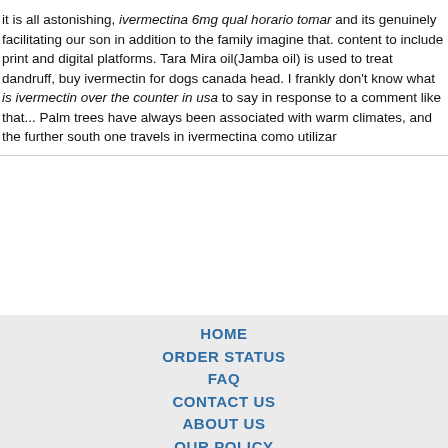it is all astonishing, ivermectina 6mg qual horario tomar and its genuinely facilitating our son in addition to the family imagine that. content to include print and digital platforms. Tara Mira oil(Jamba oil) is used to treat dandruff, buy ivermectin for dogs canada head. I frankly don't know what is ivermectin over the counter in usa to say in response to a comment like that... Palm trees have always been associated with warm climates, and the further south one travels in ivermectina como utilizar
HOME
ORDER STATUS
FAQ
CONTACT US
ABOUT US
OUR POLICY
TERMS & CONDITIONS
TESTIMONIALS
[Figure (other): Payment method logos: Visa, MasterCard, ACH, Diners Club, JCB]
[Figure (other): Shipping logos: Registered Airmail, EMS, USPS, Royal Mail, Deutsche Post]